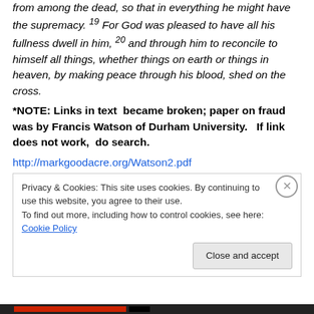from among the dead, so that in everything he might have the supremacy. 19 For God was pleased to have all his fullness dwell in him, 20 and through him to reconcile to himself all things, whether things on earth or things in heaven, by making peace through his blood, shed on the cross.
*NOTE: Links in text  became broken; paper on fraud was by Francis Watson of Durham University.   If link does not work,  do search.
http://markgoodacre.org/Watson2.pdf
Privacy & Cookies: This site uses cookies. By continuing to use this website, you agree to their use. To find out more, including how to control cookies, see here: Cookie Policy